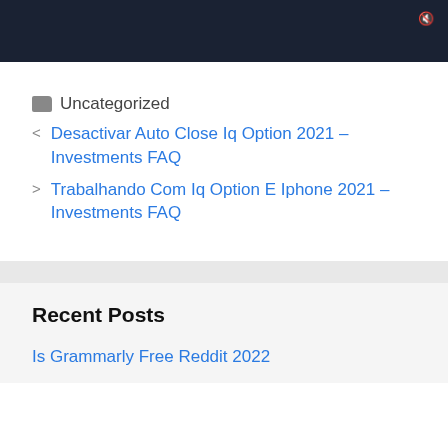[Figure (screenshot): Dark video player bar with volume icon in top right corner]
Uncategorized
Desactivar Auto Close Iq Option 2021 – Investments FAQ
Trabalhando Com Iq Option E Iphone 2021 – Investments FAQ
Recent Posts
Is Grammarly Free Reddit 2022